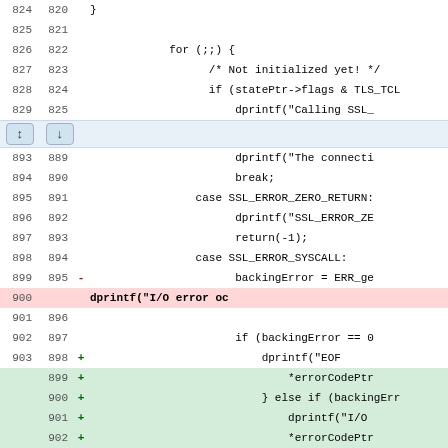[Figure (screenshot): Code diff view showing lines 824-908+, with a collapsed section between lines 829 and 893. Lines include normal, deleted (red background, line 900), and added (green background, lines 899-908+) code diff content.]